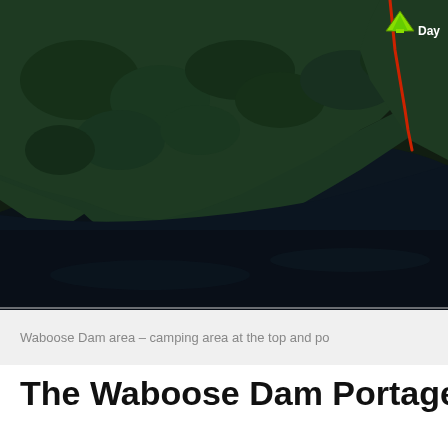[Figure (map): Aerial/satellite map of the Waboose Dam area showing forested land, water, a red route line, and a green camping marker labeled 'Day' in the upper right corner.]
Waboose Dam area – camping area at the top and po
The Waboose Dam Portage
We beached our canoe just above the safety boom on the where Max is standing in the image below is where the te we figured we'd stretch our legs and walk the portage trail maintained by an Ontario Power Generation crew and was blocking the path have probably fallen since they went th